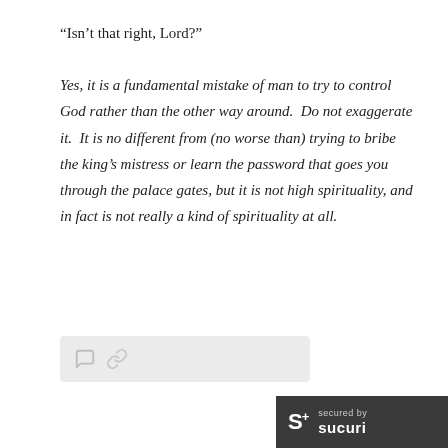“Isn’t that right, Lord?”
Yes, it is a fundamental mistake of man to try to control God rather than the other way around. Do not exaggerate it. It is no different from (no worse than) trying to bribe the king’s mistress or learn the password that goes you through the palace gates, but it is not high spirituality, and in fact is not really a kind of spirituality at all.
[Figure (other): Social share bar with comment icon and link icon on a light grey background]
[Figure (logo): Sucuri security badge: dark grey rectangle with S+ logo and 'secured by sucuri' text]